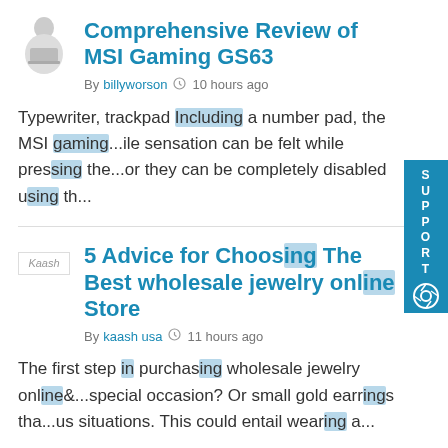[Figure (illustration): Avatar image of a person with laptop, female silhouette]
Comprehensive Review of MSI Gaming GS63
By billyworson  10 hours ago
Typewriter, trackpad Including a number pad, the MSI gaming...ile sensation can be felt while pressing the...or they can be completely disabled using th...
[Figure (illustration): Kaash brand logo/text avatar]
5 Advice for Choosing The Best wholesale jewelry online Store
By kaash usa  11 hours ago
The first step in purchasing wholesale jewelry online&...special occasion? Or small gold earrings tha...us situations. This could entail wearing a...